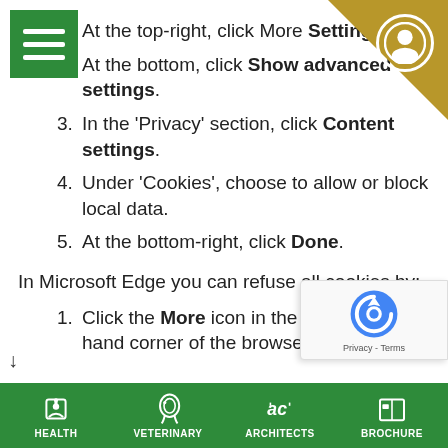At the top-right, click More Settings.
At the bottom, click Show advanced settings.
In the 'Privacy' section, click Content settings.
Under 'Cookies', choose to allow or block local data.
At the bottom-right, click Done.
In Microsoft Edge you can refuse all cookies by:
Click the More icon in the upper right-hand corner of the browser window.
HEALTH | VETERINARY | ARCHITECTS | BROCHURE